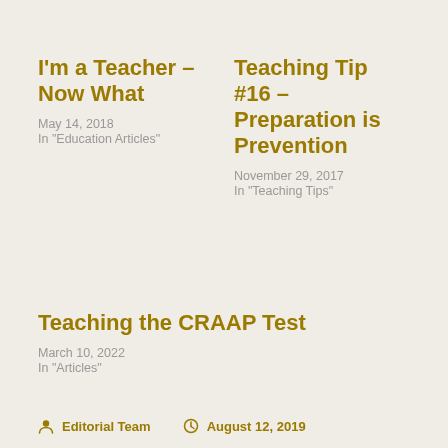I'm a Teacher – Now What
May 14, 2018
In "Education Articles"
Teaching Tip #16 – Preparation is Prevention
November 29, 2017
In "Teaching Tips"
Teaching the CRAAP Test
March 10, 2022
In "Articles"
Editorial Team   August 12, 2019